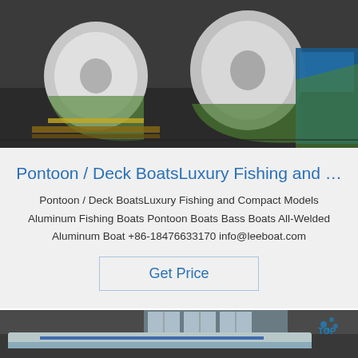[Figure (photo): Industrial warehouse photo showing rolls of aluminum sheet material wrapped in green and blue protective film, stacked on pallets on a dark floor.]
Pontoon / Deck BoatsLuxury Fishing and …
Pontoon / Deck BoatsLuxury Fishing and Compact Models Aluminum Fishing Boats Pontoon Boats Bass Boats All-Welded Aluminum Boat +86-18476633170 info@leeboat.com
Get Price
[Figure (photo): Industrial factory floor showing aluminum boat hull or sheet metal fabrication in a large workshop with windows in background and a blue TOP logo watermark in the corner.]